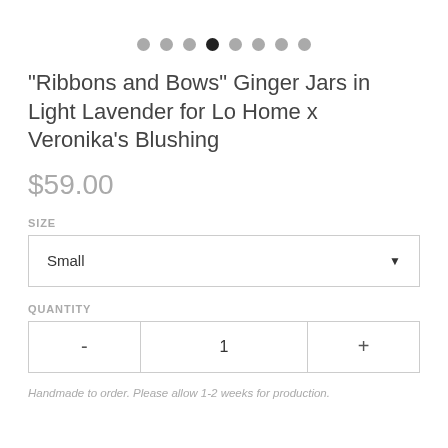[Figure (other): Row of 8 navigation dots; the 4th dot is filled black (active), the rest are gray]
"Ribbons and Bows" Ginger Jars in Light Lavender for Lo Home x Veronika's Blushing
$59.00
SIZE
Small ▼
QUANTITY
- 1 +
Handmade to order. Please allow 1-2 weeks for production.